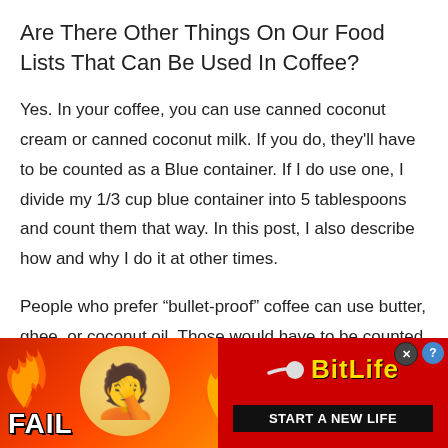Are There Other Things On Our Food Lists That Can Be Used In Coffee?
Yes. In your coffee, you can use canned coconut cream or canned coconut milk. If you do, they'll have to be counted as a Blue container. If I do use one, I divide my 1/3 cup blue container into 5 tablespoons and count them that way. In this post, I also describe how and why I do it at other times.
People who prefer “bullet-proof” coffee can use butter, ghee, or coconut oil. Those would have to be counted in...
[Figure (screenshot): Advertisement banner for BitLife game. Left side shows orange/red fire background with 'FAIL' text and a facepalm emoji. Center has a flame graphic. Right side has a red background with a sperm logo, 'BitLife' in yellow text, and 'START A NEW LIFE' in white text on black bar. Close (X) and help (?) buttons visible.]